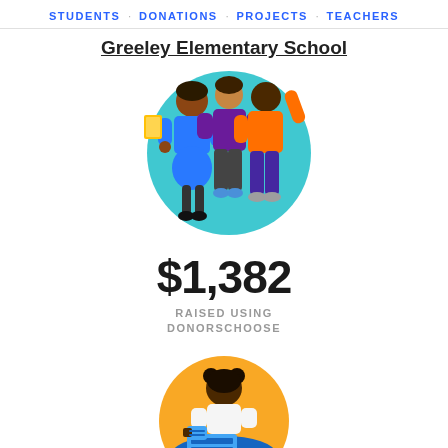STUDENTS · DONATIONS · PROJECTS · TEACHERS
Greeley Elementary School
[Figure (illustration): Three illustrated figures of teachers/adults standing together with arms around each other, against a teal circular background. Left figure is a woman in blue with a book, center figure in purple, right figure in orange with hand raised.]
$1,382
RAISED USING DONORSCHOOSE
[Figure (illustration): Illustrated figure of a student (child) sitting at a desk reading/working, shown in a circular frame with yellow and blue background.]